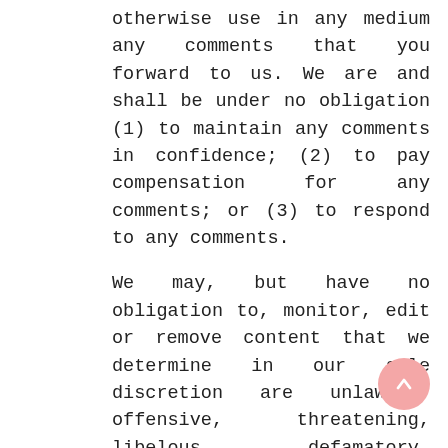otherwise use in any medium any comments that you forward to us. We are and shall be under no obligation (1) to maintain any comments in confidence; (2) to pay compensation for any comments; or (3) to respond to any comments.
We may, but have no obligation to, monitor, edit or remove content that we determine in our sole discretion are unlawful, offensive, threatening, libelous, defamatory, pornographic, obscene or otherwise objectionable or violates any party's intellectual property or these Terms of Service
You agree that your comments will